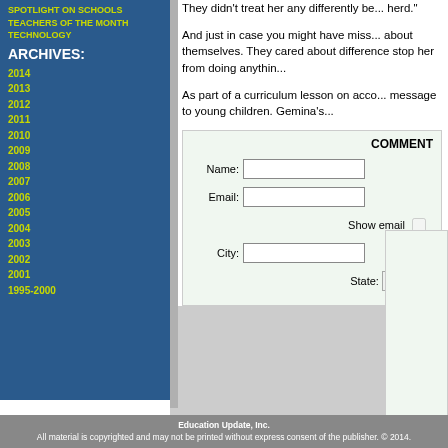SPOTLIGHT ON SCHOOLS
TEACHERS OF THE MONTH
TECHNOLOGY
ARCHIVES:
2014
2013
2012
2011
2010
2009
2008
2007
2006
2005
2004
2003
2002
2001
1995-2000
They didn't treat her any differently be... herd."
And just in case you might have miss... about themselves. They cared about ... difference stop her from doing anythin...
As part of a curriculum lesson on acco... message to young children. Gemina's...
COMMENT
Name:
Email:
Show email
City:
State: NY
Education Update, Inc.
All material is copyrighted and may not be printed without express consent of the publisher. © 2014.